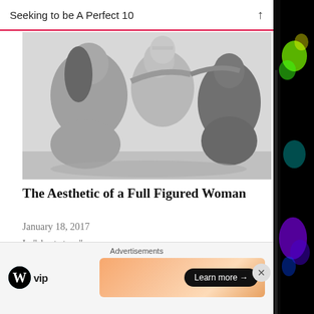Seeking to be A Perfect 10
[Figure (photo): Black and white artistic photograph of four plus-size women posed together in an embrace, sitting on a floor]
The Aesthetic of a Full Figured Woman
January 18, 2017
In "short story"
[Figure (photo): Partial view of handwritten notes on paper with names including Jo, Hsu, Stefan, and others visible]
Advertisements
[Figure (logo): WordPress VIP logo — WordPress W icon followed by 'vip' text]
[Figure (other): Orange gradient advertisement banner with 'Learn more →' button in dark rounded pill]